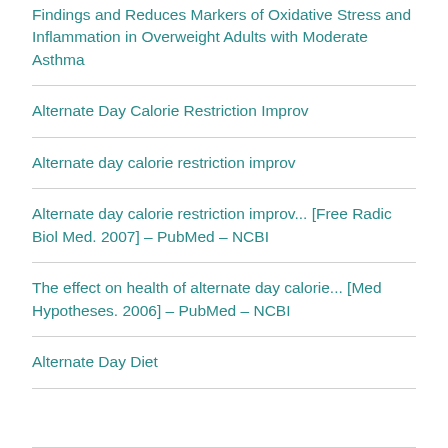Findings and Reduces Markers of Oxidative Stress and Inflammation in Overweight Adults with Moderate Asthma
Alternate Day Calorie Restriction Improv
Alternate day calorie restriction improv
Alternate day calorie restriction improv... [Free Radic Biol Med. 2007] – PubMed – NCBI
The effect on health of alternate day calorie... [Med Hypotheses. 2006] – PubMed – NCBI
Alternate Day Diet